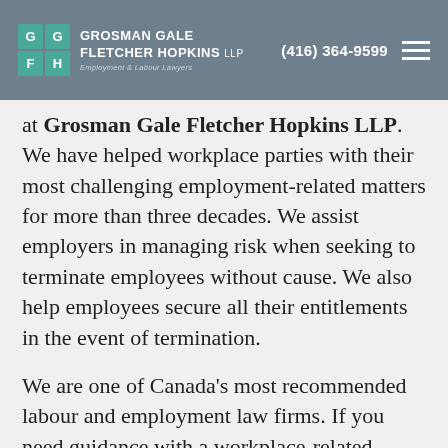Grosman Gale Fletcher Hopkins LLP | (416) 364-9599
at Grosman Gale Fletcher Hopkins LLP. We have helped workplace parties with their most challenging employment-related matters for more than three decades. We assist employers in managing risk when seeking to terminate employees without cause. We also help employees secure all their entitlements in the event of termination.
We are one of Canada's most recommended labour and employment law firms. If you need guidance with a workplace-related issue, contact us online or at 416 364-9599